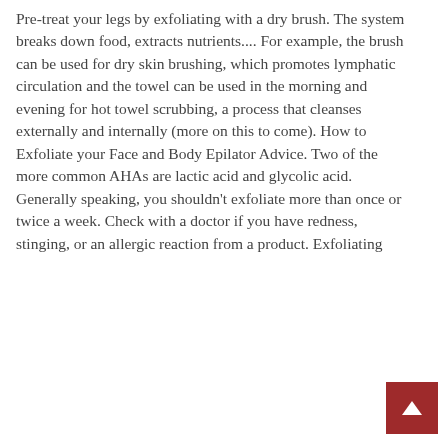Pre-treat your legs by exfoliating with a dry brush. The system breaks down food, extracts nutrients.... For example, the brush can be used for dry skin brushing, which promotes lymphatic circulation and the towel can be used in the morning and evening for hot towel scrubbing, a process that cleanses externally and internally (more on this to come). How to Exfoliate your Face and Body Epilator Advice. Two of the more common AHAs are lactic acid and glycolic acid. Generally speaking, you shouldn't exfoliate more than once or twice a week. Check with a doctor if you have redness, stinging, or an allergic reaction from a product. Exfoliating